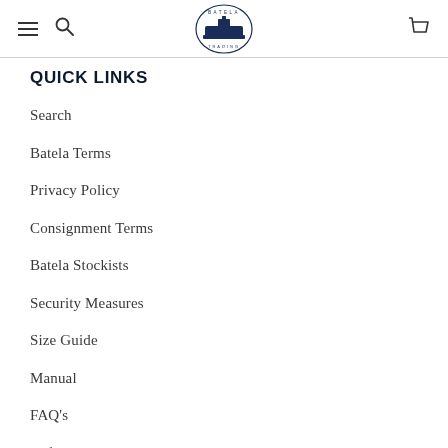Batela Trading — navigation header with hamburger menu, search, logo, and cart
QUICK LINKS
Search
Batela Terms
Privacy Policy
Consignment Terms
Batela Stockists
Security Measures
Size Guide
Manual
FAQ's
Refund Policy
Terms of Service